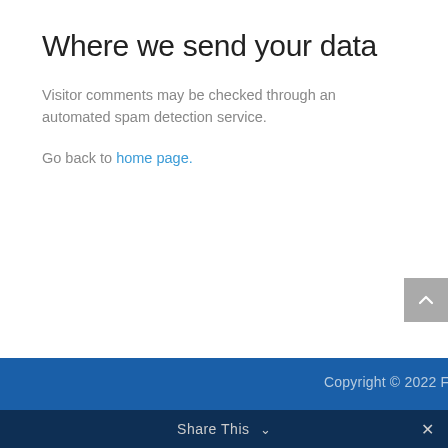Where we send your data
Visitor comments may be checked through an automated spam detection service.
Go back to home page.
Copyright © 2022 FreeTrumpShirt.com
Share This ∨  ✕